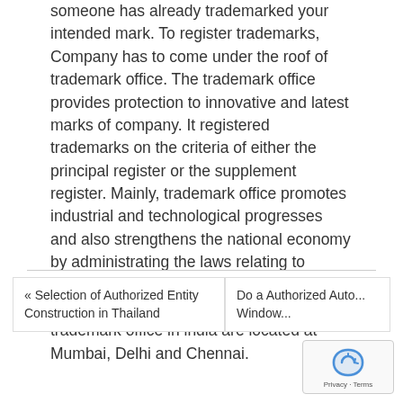someone has already trademarked your intended mark. To register trademarks, Company has to come under the roof of trademark office. The trademark office provides protection to innovative and latest marks of company. It registered trademarks on the criteria of either the principal register or the supplement register. Mainly, trademark office promotes industrial and technological progresses and also strengthens the national economy by administrating the laws relating to patents and trademarks. With the head office at Kolkata, other branches of trademark office in india are located at Mumbai, Delhi and Chennai.
« Selection of Authorized Entity Construction in Thailand | Do a Authorized Auto... Window...